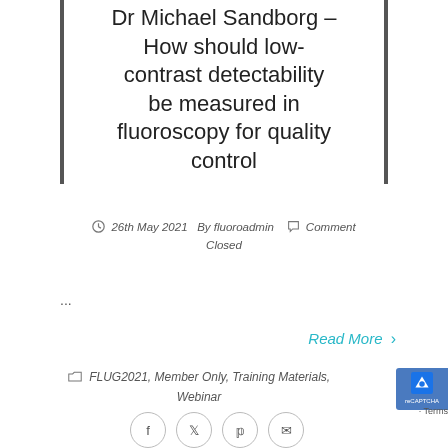Dr Michael Sandborg – How should low-contrast detectability be measured in fluoroscopy for quality control
26th May 2021   By fluoroadmin   Comment Closed
...
Read More ›
FLUG2021, Member Only, Training Materials, Webinar